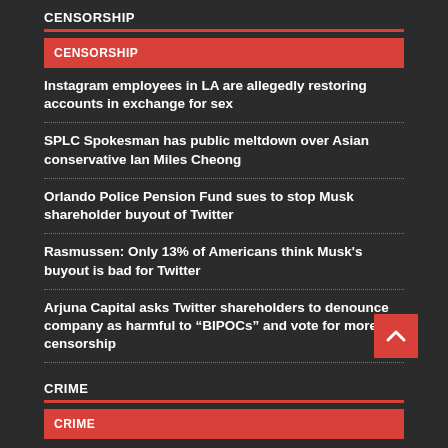CENSORSHIP
CENSORSHIP
Instagram employees in LA are allegedly restoring accounts in exchange for sex
SPLC Spokesman has public meltdown over Asian conservative Ian Miles Cheong
Orlando Police Pension Fund sues to stop Musk shareholder buyout of Twitter
Rasmussen: Only 13% of Americans think Musk's buyout is bad for Twitter
Arjuna Capital asks Twitter shareholders to denounce company as harmful to “BIPOCs” and vote for more censorship
CRIME
CRIME
Top ten most dangerous counties, based on reported violent